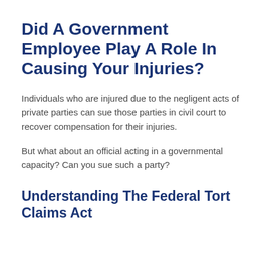Did A Government Employee Play A Role In Causing Your Injuries?
Individuals who are injured due to the negligent acts of private parties can sue those parties in civil court to recover compensation for their injuries.
But what about an official acting in a governmental capacity? Can you sue such a party?
Understanding The Federal Tort Claims Act